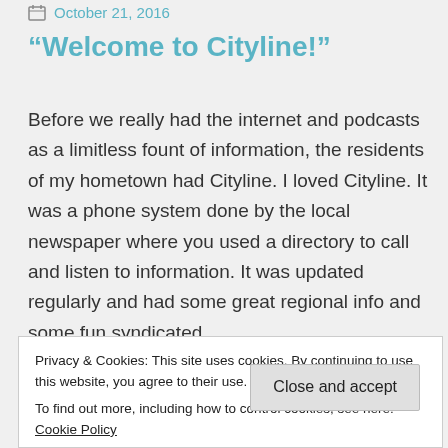October 21, 2016
“Welcome to Cityline!”
Before we really had the internet and podcasts as a limitless fount of information, the residents of my hometown had Cityline. I loved Cityline. It was a phone system done by the local newspaper where you used a directory to call and listen to information. It was updated regularly and had some great regional info and some fun syndicated
Privacy & Cookies: This site uses cookies. By continuing to use this website, you agree to their use.
To find out more, including how to control cookies, see here: Cookie Policy
Close and accept
SPOKANE RUNS CITYLINE SYSTEM